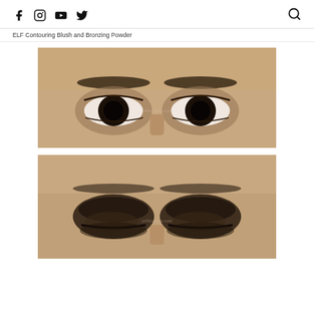Social media icons: Facebook, Instagram, YouTube, Twitter, and Search
ELF Contouring Blush and Bronzing Powder
[Figure (photo): Close-up photo of a person's eyes open, showing eyebrows and eye makeup - before look]
[Figure (photo): Close-up photo of a person's eyes closed, showing eyebrows and eye makeup with dark eyeshadow applied - after look]